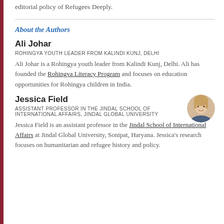editorial policy of Refugees Deeply.
About the Authors
Ali Johar
ROHINGYA YOUTH LEADER FROM KALINDI KUNJ, DELHI
Ali Johar is a Rohingya youth leader from Kalindi Kunj, Delhi. Ali has founded the Rohingya Literacy Program and focuses on education opportunities for Rohingya children in India.
Jessica Field
ASSISTANT PROFESSOR IN THE JINDAL SCHOOL OF INTERNATIONAL AFFAIRS, JINDAL GLOBAL UNIVERSITY
Jessica Field is an assistant professor in the Jindal School of International Affairs at Jindal Global University, Sonipat, Haryana. Jessica's research focuses on humanitarian and refugee history and policy.
[Figure (photo): Circular headshot photo of Jessica Field]